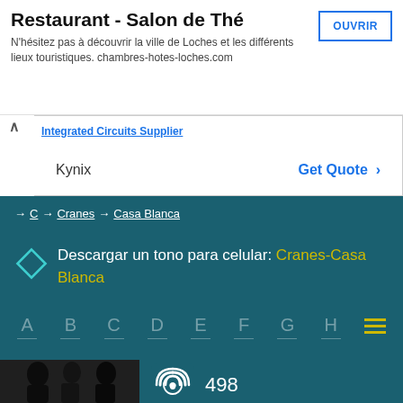Restaurant - Salon de Thé
N'hésitez pas à découvrir la ville de Loches et les différents lieux touristiques. chambres-hotes-loches.com
OUVRIR
Integrated Circuits Supplier
Kynix   Get Quote >
→ C → Cranes → Casa Blanca
Descargar un tono para celular: Cranes-Casa Blanca
A B C D E F G H
[Figure (photo): Black and white band photo of Cranes]
[Figure (other): Radio wave / play icon with count 498]
498